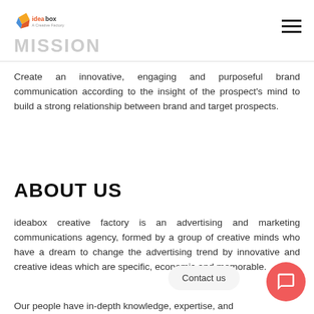ideabox — MISSION
Create an innovative, engaging and purposeful brand communication according to the insight of the prospect's mind to build a strong relationship between brand and target prospects.
ABOUT US
ideabox creative factory is an advertising and marketing communications agency, formed by a group of creative minds who have a dream to change the advertising trend by innovative and creative ideas which are specific, economic and memorable.
Our people have in-depth knowledge, expertise, and